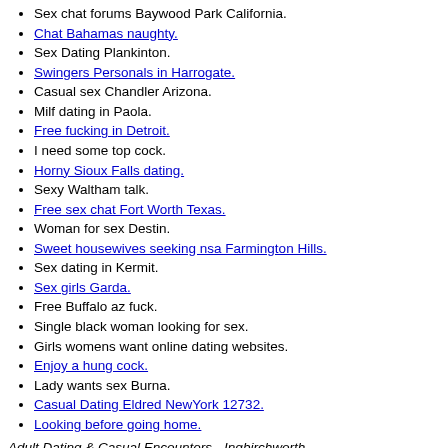Sex chat forums Baywood Park California.
Chat Bahamas naughty.
Sex Dating Plankinton.
Swingers Personals in Harrogate.
Casual sex Chandler Arizona.
Milf dating in Paola.
Free fucking in Detroit.
I need some top cock.
Horny Sioux Falls dating.
Sexy Waltham talk.
Free sex chat Fort Worth Texas.
Woman for sex Destin.
Sweet housewives seeking nsa Farmington Hills.
Sex dating in Kermit.
Sex girls Garda.
Free Buffalo az fuck.
Single black woman looking for sex.
Girls womens want online dating websites.
Enjoy a hung cock.
Lady wants sex Burna.
Casual Dating Eldred NewYork 12732.
Looking before going home.
Adult Dating & Casual Encounters - Ingbirchworth